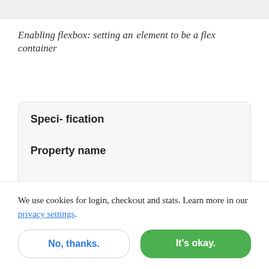Enabling flexbox: setting an element to be a flex container
| Speci- fication | Property name |
| --- | --- |
We use cookies for login, checkout and stats. Learn more in our privacy settings.
No, thanks.
It's okay.